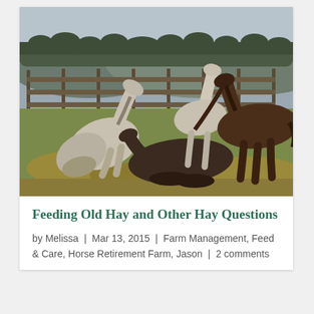[Figure (photo): Photograph of four horses in a grassy paddock with wooden fence and rolling hills in the background. A gray horse is getting up from the ground on the left, a dark brown horse is lying down in the center, another dark horse stands to the right, and a gray/white horse stands in the background.]
Feeding Old Hay and Other Hay Questions
by Melissa | Mar 13, 2015 | Farm Management, Feed & Care, Horse Retirement Farm, Jason | 2 comments